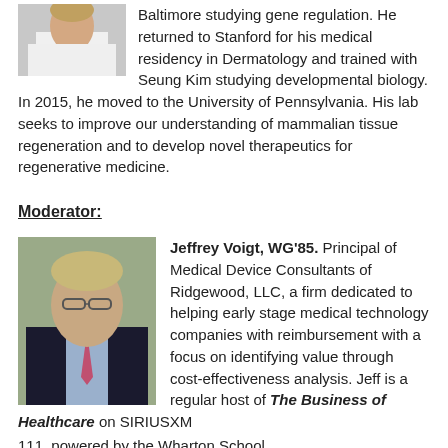[Figure (photo): Partial photo of a person in a white coat, cropped at top-left]
Baltimore studying gene regulation. He returned to Stanford for his medical residency in Dermatology and trained with Seung Kim studying developmental biology. In 2015, he moved to the University of Pennsylvania. His lab seeks to improve our understanding of mammalian tissue regeneration and to develop novel therapeutics for regenerative medicine.
Moderator:
[Figure (photo): Professional headshot of Jeffrey Voigt, a middle-aged man in a dark suit with a pink tie]
Jeffrey Voigt, WG'85. Principal of Medical Device Consultants of Ridgewood, LLC, a firm dedicated to helping early stage medical technology companies with reimbursement with a focus on identifying value through cost-effectiveness analysis. Jeff is a regular host of The Business of Healthcare on SIRIUSXM 111, powered by the Wharton School.